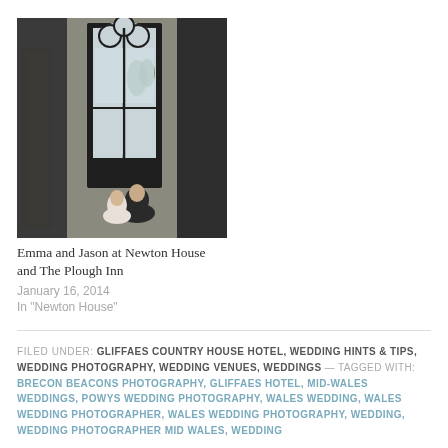[Figure (photo): Wedding photo showing a bride and groom near a large gothic arched window with ornate tracery in a historic stone building. A wall sconce lamp is visible on the left.]
Emma and Jason at Newton House and The Plough Inn
January 16, 2014
In "Newton House"
FILED UNDER: GLIFFAES COUNTRY HOUSE HOTEL, WEDDING HINTS & TIPS, WEDDING PHOTOGRAPHY, WEDDING VENUES, WEDDINGS — TAGGED WITH: BRECON BEACONS PHOTOGRAPHY, GLIFFAES HOTEL, MID-WALES WEDDINGS, POWYS WEDDING PHOTOGRAPHY, WALES WEDDING, WALES WEDDING PHOTOGRAPHER, WALES WEDDING PHOTOGRAPHY, WEDDING, WEDDING PHOTOGRAPHER MID WALES, WEDDING